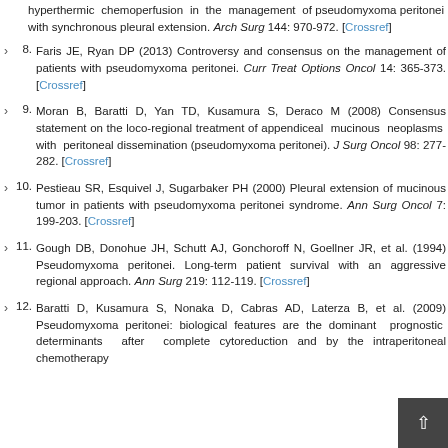hyperthermic chemoperfusion in the management of pseudomyxoma peritonei with synchronous pleural extension. Arch Surg 144: 970-972. [Crossref]
8. Faris JE, Ryan DP (2013) Controversy and consensus on the management of patients with pseudomyxoma peritonei. Curr Treat Options Oncol 14: 365-373. [Crossref]
9. Moran B, Baratti D, Yan TD, Kusamura S, Deraco M (2008) Consensus statement on the loco-regional treatment of appendiceal mucinous neoplasms with peritoneal dissemination (pseudomyxoma peritonei). J Surg Oncol 98: 277-282. [Crossref]
10. Pestieau SR, Esquivel J, Sugarbaker PH (2000) Pleural extension of mucinous tumor in patients with pseudomyxoma peritonei syndrome. Ann Surg Oncol 7: 199-203. [Crossref]
11. Gough DB, Donohue JH, Schutt AJ, Gonchoroff N, Goellner JR, et al. (1994) Pseudomyxoma peritonei. Long-term patient survival with an aggressive regional approach. Ann Surg 219: 112-119. [Crossref]
12. Baratti D, Kusamura S, Nonaka D, Cabras AD, Laterza B, et al. (2009) Pseudomyxoma peritonei: biological features are the dominant prognostic determinants after complete cytoreduction and hyperthermic intraperitoneal chemotherapy...